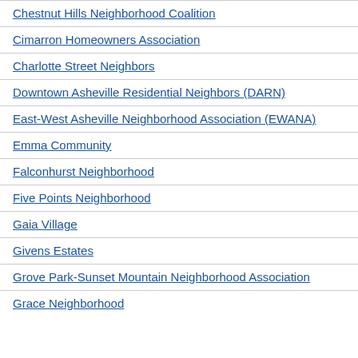Chestnut Hills Neighborhood Coalition
Cimarron Homeowners Association
Charlotte Street Neighbors
Downtown Asheville Residential Neighbors (DARN)
East-West Asheville Neighborhood Association (EWANA)
Emma Community
Falconhurst Neighborhood
Five Points Neighborhood
Gaia Village
Givens Estates
Grove Park-Sunset Mountain Neighborhood Association
Grace Neighborhood